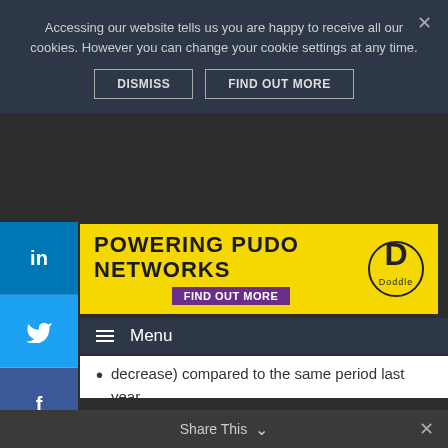Accessing our website tells us you are happy to receive all our cookies. However you can change your cookie settings at any time.
DISMISS    FIND OUT MORE
[Figure (infographic): Yellow advertisement banner reading POWERING PUDO NETWORKS with FIND OUT MORE button and Doddle logo]
Menu
decrease) compared to the same period last year
176.6 million letters sent this half of the year compared to 1 billion per year ten years ago
“NZ Post is primed to continue maximising the growth and opportunities that eCommerce brings, especially in the fast-growing business